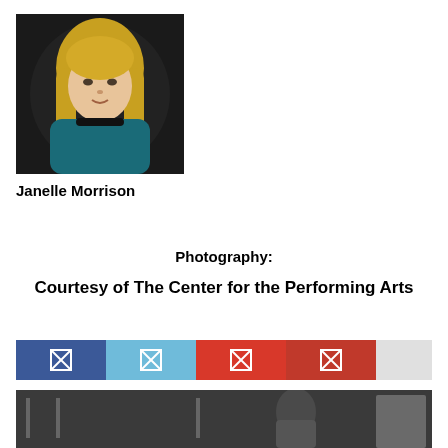[Figure (photo): Headshot photo of Janelle Morrison, a woman with long blonde hair wearing a teal jacket]
Janelle Morrison
Photography:
Courtesy of The Center for the Performing Arts
[Figure (infographic): Social media sharing buttons: Facebook, Twitter, Google+, Pinterest, and a grey more button]
[Figure (photo): Previous article image showing people in an indoor setting with a Previous label overlay]